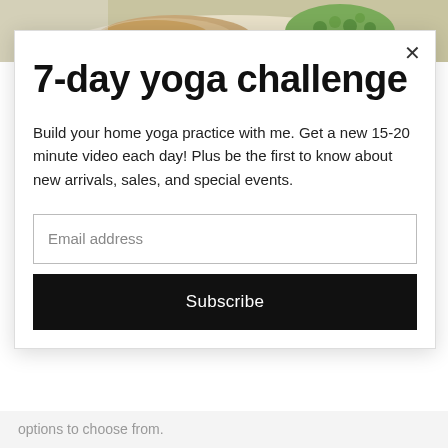[Figure (photo): Partial food photo showing what appears to be a meal with green peas and meat on a plate, cropped at top of page]
7-day yoga challenge
Build your home yoga practice with me. Get a new 15-20 minute video each day! Plus be the first to know about new arrivals, sales, and special events.
Email address
Subscribe
options to choose from.